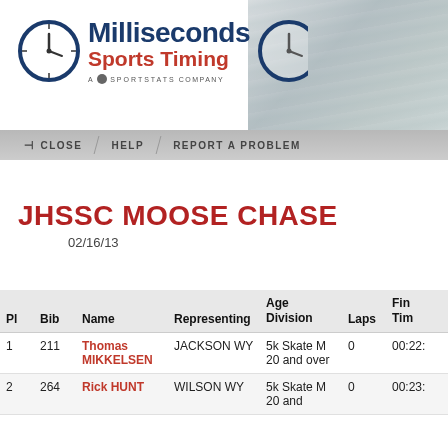[Figure (logo): Milliseconds Sports Timing logo with clock icons and 'A SPORTSTATS COMPANY' tagline, with athletic photo background on right]
CLOSE   HELP   REPORT A PROBLEM
JHSSC MOOSE CHASE
02/16/13
| Pl | Bib | Name | Representing | Age Division | Laps | Fin Tim |
| --- | --- | --- | --- | --- | --- | --- |
| 1 | 211 | Thomas MIKKELSEN | JACKSON WY | 5k Skate M 20 and over | 0 | 00:22: |
| 2 | 264 | Rick HUNT | WILSON WY | 5k Skate M 20 and | 0 | 00:23: |